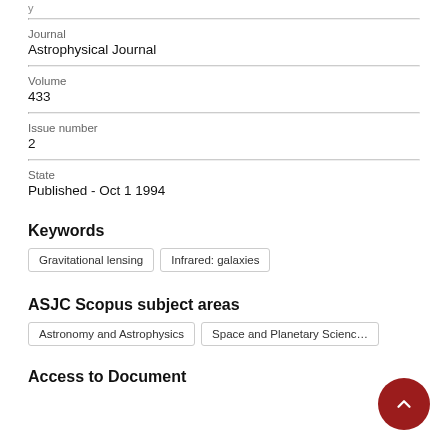Journal
Astrophysical Journal
Volume
433
Issue number
2
State
Published - Oct 1 1994
Keywords
Gravitational lensing
Infrared: galaxies
ASJC Scopus subject areas
Astronomy and Astrophysics
Space and Planetary Science
Access to Document